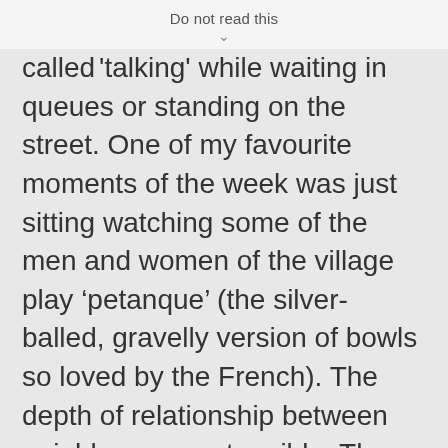Do not read this
called 'talking' while waiting in queues or standing on the street. One of my favourite moments of the week was just sitting watching some of the men and women of the village play ‘petanque’ (the silver-balled, gravelly version of bowls so loved by the French). The depth of relationship between neighbours was tangible. There is hardly any mobile phone coverage, and precious little broadband in the village. It is hard to imagine a ‘developed’ world context much more different to my world of central London.